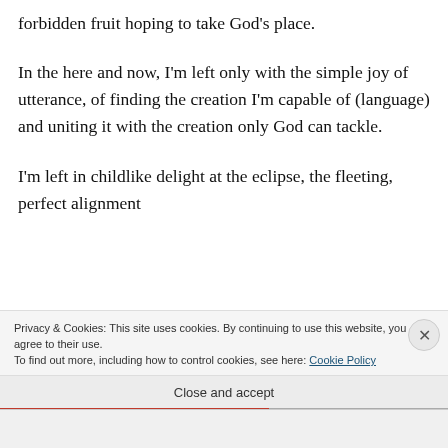forbidden fruit hoping to take God's place.
In the here and now, I'm left only with the simple joy of utterance, of finding the creation I'm capable of (language) and uniting it with the creation only God can tackle.
I'm left in childlike delight at the eclipse, the fleeting, perfect alignment
Privacy & Cookies: This site uses cookies. By continuing to use this website, you agree to their use.
To find out more, including how to control cookies, see here: Cookie Policy
Close and accept